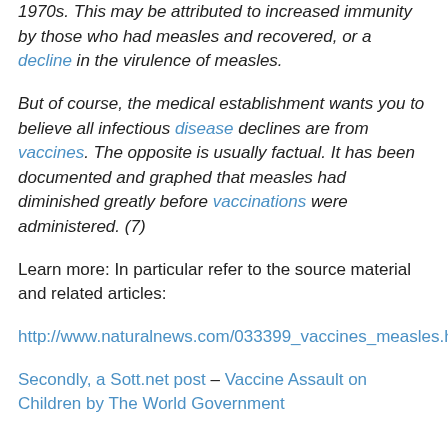1970s. This may be attributed to increased immunity by those who had measles and recovered, or a decline in the virulence of measles.
But of course, the medical establishment wants you to believe all infectious disease declines are from vaccines. The opposite is usually factual. It has been documented and graphed that measles had diminished greatly before vaccinations were administered. (7)
Learn more: In particular refer to the source material and related articles:
http://www.naturalnews.com/033399_vaccines_measles.html#ixzz1VvS1BCzO
Secondly, a Sott.net post – Vaccine Assault on Children by The World Government